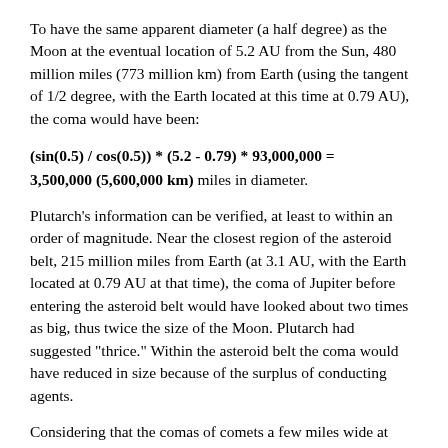To have the same apparent diameter (a half degree) as the Moon at the eventual location of 5.2 AU from the Sun, 480 million miles (773 million km) from Earth (using the tangent of 1/2 degree, with the Earth located at this time at 0.79 AU), the coma would have been:
(sin(0.5) / cos(0.5)) * (5.2 - 0.79) * 93,000,000 = 3,500,000 (5,600,000 km) miles in diameter.
Plutarch's information can be verified, at least to within an order of magnitude. Near the closest region of the asteroid belt, 215 million miles from Earth (at 3.1 AU, with the Earth located at 0.79 AU at that time), the coma of Jupiter before entering the asteroid belt would have looked about two times as big, thus twice the size of the Moon. Plutarch had suggested "thrice." Within the asteroid belt the coma would have reduced in size because of the surplus of conducting agents.
Considering that the comas of comets a few miles wide at times exceed the diameter of the Sun, 864,000 miles (1,390,000 km), these estimates do not seem unrealistic for Jupiter, which has a diameter of 88,700 miles (143,000 km), and today has a plasmasphere (in